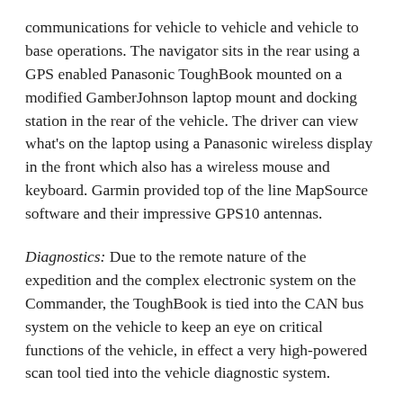communications for vehicle to vehicle and vehicle to base operations. The navigator sits in the rear using a GPS enabled Panasonic ToughBook mounted on a modified GamberJohnson laptop mount and docking station in the rear of the vehicle. The driver can view what's on the laptop using a Panasonic wireless display in the front which also has a wireless mouse and keyboard. Garmin provided top of the line MapSource software and their impressive GPS10 antennas.
Diagnostics: Due to the remote nature of the expedition and the complex electronic system on the Commander, the ToughBook is tied into the CAN bus system on the vehicle to keep an eye on critical functions of the vehicle, in effect a very high-powered scan tool tied into the vehicle diagnostic system.